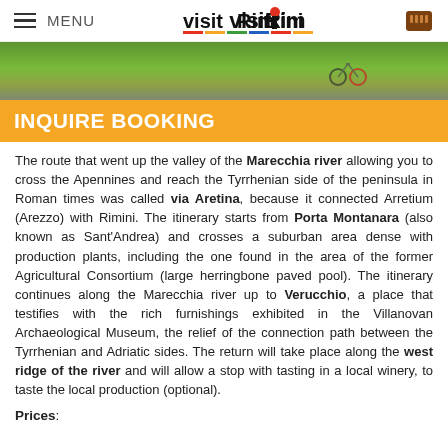MENU | visitRimini
[Figure (photo): Outdoor photo showing green grass and bicycles on a path]
INQUIRE BOOKING
The route that went up the valley of the Marecchia river allowing you to cross the Apennines and reach the Tyrrhenian side of the peninsula in Roman times was called via Aretina, because it connected Arretium (Arezzo) with Rimini. The itinerary starts from Porta Montanara (also known as Sant'Andrea) and crosses a suburban area dense with production plants, including the one found in the area of the former Agricultural Consortium (large herringbone paved pool). The itinerary continues along the Marecchia river up to Verucchio, a place that testifies with the rich furnishings exhibited in the Villanovan Archaeological Museum, the relief of the connection path between the Tyrrhenian and Adriatic sides. The return will take place along the west ridge of the river and will allow a stop with tasting in a local winery, to taste the local production (optional).
Prices: